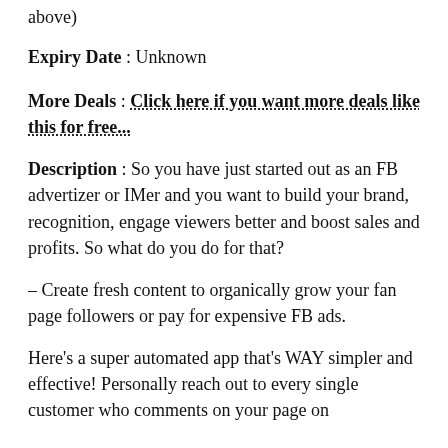above)
Expiry Date : Unknown
More Deals : Click here if you want more deals like this for free...
Description : So you have just started out as an FB advertizer or IMer and you want to build your brand, recognition, engage viewers better and boost sales and profits. So what do you do for that?
– Create fresh content to organically grow your fan page followers or pay for expensive FB ads.
Here's a super automated app that's WAY simpler and effective! Personally reach out to every single customer who comments on your page on